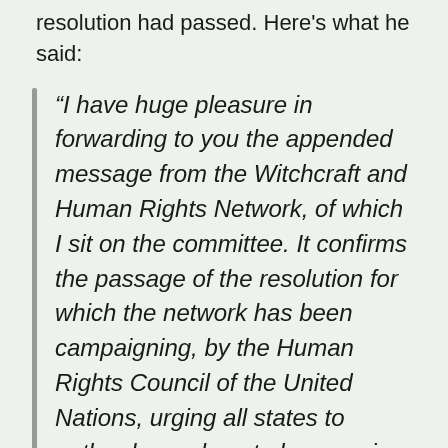resolution had passed. Here's what he said:
“I have huge pleasure in forwarding to you the appended message from the Witchcraft and Human Rights Network, of which I sit on the committee. It confirms the passage of the resolution for which the network has been campaigning, by the Human Rights Council of the United Nations, urging all states to outlaw harm done to humans in the name of magical beliefs. In essence, this means the beginning of the end of witch-hunting globally, though a long